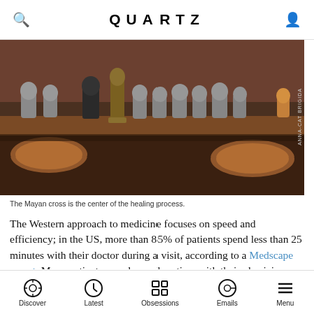QUARTZ
[Figure (photo): Shelf with multiple stone figurines resembling Ganesha/Buddha statues arranged in a row on a wooden surface, with copper plates visible]
The Mayan cross is the center of the healing process.
The Western approach to medicine focuses on speed and efficiency; in the US, more than 85% of patients spend less than 25 minutes with their doctor during a visit, according to a Medscape report. Many patients spend even less time with their physician, with hospitals scheduling appointments at 15 or 11 minute intervals.
To provide adequate care, the scientific literature
Discover  Latest  Obsessions  Emails  Menu